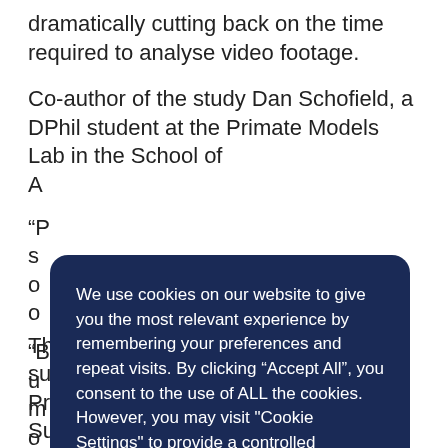dramatically cutting back on the time required to analyse video footage.
Co-author of the study Dan Schofield, a DPhil student at the Primate Models Lab in the School of A…
“P… s… o… o…
“B… u… m… o… c…
The study was co-authored by Bun's supervisors, Professor Dora Biro and Professor Susana Carvalho
[Figure (screenshot): Cookie consent modal overlay with dark navy background. Text reads: 'We use cookies on our website to give you the most relevant experience by remembering your preferences and repeat visits. By clicking “Accept All”, you consent to the use of ALL the cookies. However, you may visit "Cookie Settings" to provide a controlled consent.' A 'Cookie Settings' underlined link and an amber/gold 'ACCEPT ALL' button are shown.]